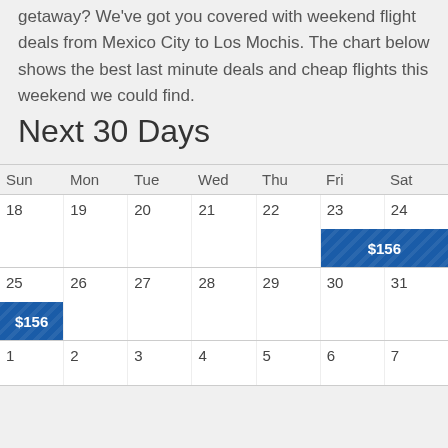getaway? We've got you covered with weekend flight deals from Mexico City to Los Mochis. The chart below shows the best last minute deals and cheap flights this weekend we could find.
Next 30 Days
| Sun | Mon | Tue | Wed | Thu | Fri | Sat |
| --- | --- | --- | --- | --- | --- | --- |
| 18 | 19 | 20 | 21 | 22 | 23 $156 | 24 |
| 25 $156 | 26 | 27 | 28 | 29 | 30 | 31 |
| 1 | 2 | 3 | 4 | 5 | 6 | 7 |